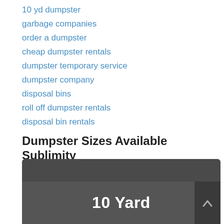10 yd dumpster
garbage companies
order a dumpster
cheap dumpster rentals
dumpster temporary service
dumpster company
disposal bins
roll off dumpster rentals
disposal bin rentals
Dumpster Sizes Available Sublimity
Get started in less than 60 seconds. Pick up the phone and get a quote now!
[Figure (other): Dark card panel showing '10 Yard' dumpster size option with a chevron/arrow button on the right side]